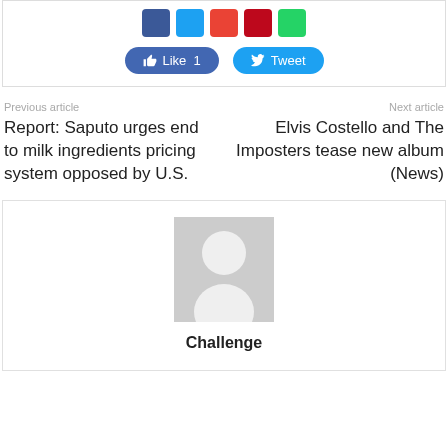[Figure (screenshot): Social share buttons: Facebook, Twitter, Gmail, Pinterest, WhatsApp icons and Like/Tweet buttons]
Previous article
Next article
Report: Saputo urges end to milk ingredients pricing system opposed by U.S.
Elvis Costello and The Imposters tease new album (News)
[Figure (illustration): Default author avatar placeholder image with person silhouette on grey background]
Challenge